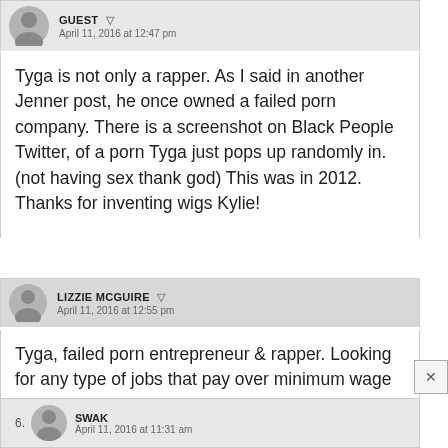GUEST — April 11, 2016 at 12:47 pm
Tyga is not only a rapper. As I said in another Jenner post, he once owned a failed porn company. There is a screenshot on Black People Twitter, of a porn Tyga just pops up randomly in. (not having sex thank god) This was in 2012.
Thanks for inventing wigs Kylie!
LIZZIE MCGUIRE — April 11, 2016 at 12:55 pm
Tyga, failed porn entrepreneur & rapper. Looking for any type of jobs that pay over minimum wage because his gf has cut his credit limit in his, sorry typo her card.
6. SWAK — April 11, 2016 at 11:31 am